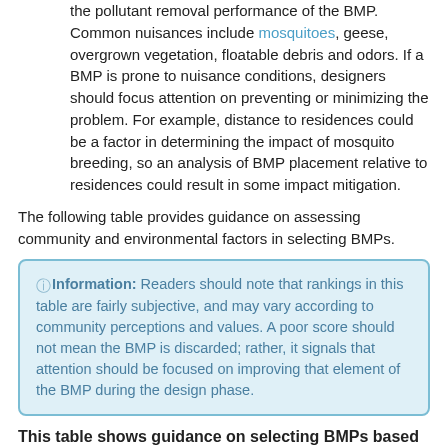the pollutant removal performance of the BMP. Common nuisances include mosquitoes, geese, overgrown vegetation, floatable debris and odors. If a BMP is prone to nuisance conditions, designers should focus attention on preventing or minimizing the problem. For example, distance to residences could be a factor in determining the impact of mosquito breeding, so an analysis of BMP placement relative to residences could result in some impact mitigation.
The following table provides guidance on assessing community and environmental factors in selecting BMPs.
Information: Readers should note that rankings in this table are fairly subjective, and may vary according to community perceptions and values. A poor score should not mean the BMP is discarded; rather, it signals that attention should be focused on improving that element of the BMP during the design phase.
This table shows guidance on selecting BMPs based on community and environmental factors.
Link to this table.